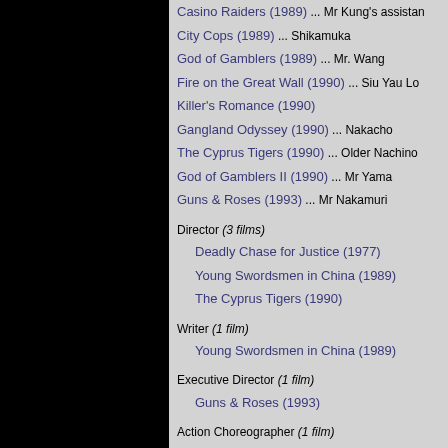Casino Raiders (1989) ... Mr Kung's assistant
City Cops (1989) ... Shikamuka
God of Gamblers (1989) ... Mr. Wang
Fire on the Great Wall (1990) ... Siu Yau Lo
Killer's Romance (1990)
Gangland Odyssey (1990) ... Nakacho
The Cyprus Tigers (1990) ... Older Nachino
God of Gamblers II (1990) ... Mr Yama
Guns & Roses (1993) ... Mr Nakamuri
Director (3 films)
Deadly Chase for Justice (1977)
Young Swordsmen in China (1989)
The Cyprus Tigers (1990)
Writer (1 film)
Young Swordsmen in China (1989)
Executive Director (1 film)
Guns & Roses (1993)
Action Choreographer (1 film)
Profile in Anger (1984)
Action Designer (4 films)